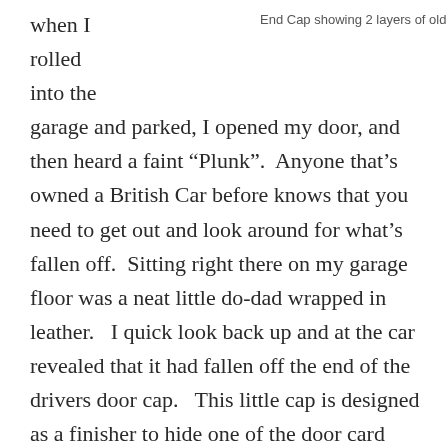End Cap showing 2 layers of old tape
when I rolled into the garage and parked, I opened my door, and then heard a faint “Plunk”.  Anyone that’s owned a British Car before knows that you need to get out and look around for what’s fallen off.  Sitting right there on my garage floor was a neat little do-dad wrapped in leather.   I quick look back up and at the car revealed that it had fallen off the end of the drivers door cap.   This little cap is designed as a finisher to hide one of the door card mounting screws.  It was held on by some double sided tape that gave up (much like the glue in my sagging headliner – read about that here).   Its an easy fix that anyone can undertake, and here’s how I did it.